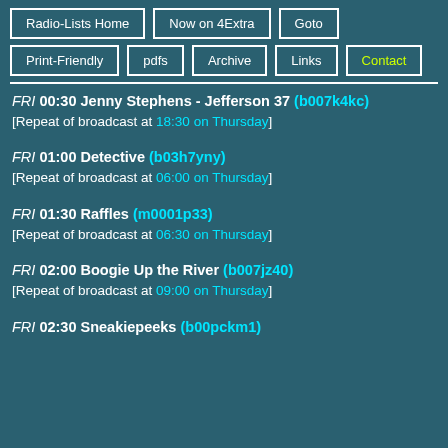Radio-Lists Home | Now on 4Extra | Goto | Print-Friendly | pdfs | Archive | Links | Contact
FRI 00:30 Jenny Stephens - Jefferson 37 (b007k4kc) [Repeat of broadcast at 18:30 on Thursday]
FRI 01:00 Detective (b03h7yny) [Repeat of broadcast at 06:00 on Thursday]
FRI 01:30 Raffles (m0001p33) [Repeat of broadcast at 06:30 on Thursday]
FRI 02:00 Boogie Up the River (b007jz40) [Repeat of broadcast at 09:00 on Thursday]
FRI 02:30 Sneakiepeeks (b00pckm1)